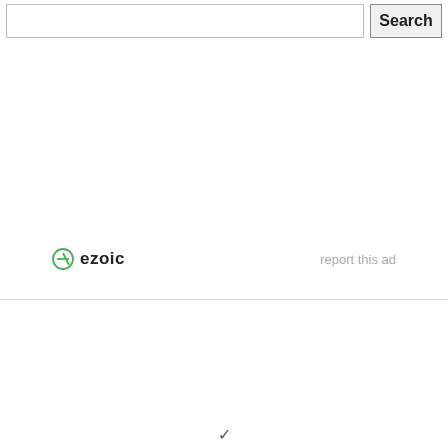[Figure (screenshot): Search bar with text input box and Search button at top of page]
[Figure (logo): Ezoic logo with circular icon and 'ezoic' text in bold, alongside 'report this ad' link]
report this ad
∨